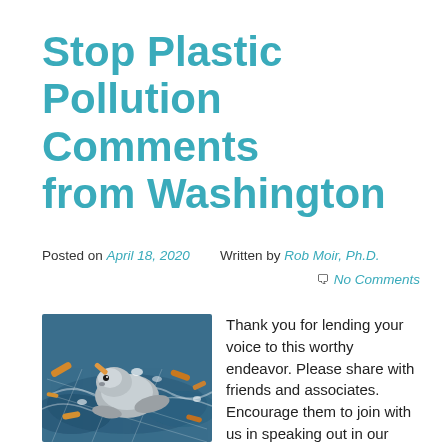Stop Plastic Pollution Comments from Washington
Posted on April 18, 2020   Written by Rob Moir, Ph.D.   💬 No Comments
[Figure (photo): A seal resting among ocean debris and fishing nets with fish and trash floating in blue water]
Thank you for lending your voice to this worthy endeavor. Please share with friends and associates. Encourage them to join with us in speaking out in our